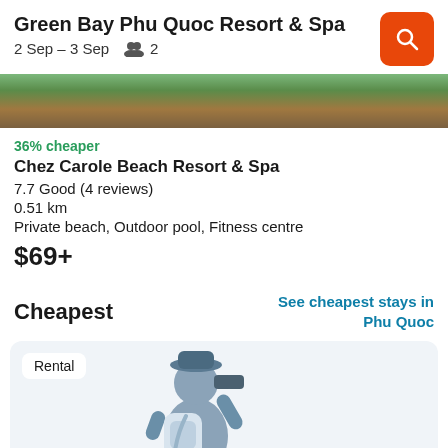Green Bay Phu Quoc Resort & Spa
2 Sep – 3 Sep   👥 2
[Figure (photo): Hotel exterior or garden image strip — partially visible greenery and wooden structure]
36% cheaper
Chez Carole Beach Resort & Spa
7.7 Good (4 reviews)
0.51 km
Private beach, Outdoor pool, Fitness centre
$69+
Cheapest
See cheapest stays in Phu Quoc
[Figure (illustration): Person with backpack and binoculars illustration in grayscale/blue tones, labeled Rental]